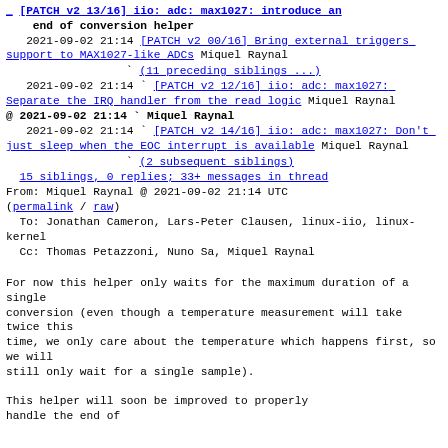[PATCH v2 13/16] iio: adc: max1027: introduce an end of conversion helper 2021-09-02 21:14 [PATCH v2 00/16] Bring external triggers support to MAX1027-like ADCs Miquel Raynal
(11 preceding siblings ...) 2021-09-02 21:14 [PATCH v2 12/16] iio: adc: max1027: Separate the IRQ handler from the read logic Miquel Raynal
@ 2021-09-02 21:14 Miquel Raynal 2021-09-02 21:14 [PATCH v2 14/16] iio: adc: max1027: Don't just sleep when the EOC interrupt is available Miquel Raynal
(2 subsequent siblings) 15 siblings, 0 replies; 33+ messages in thread
From: Miquel Raynal @ 2021-09-02 21:14 UTC
(permalink / raw)
  To: Jonathan Cameron, Lars-Peter Clausen, linux-iio, linux-kernel
  Cc: Thomas Petazzoni, Nuno Sa, Miquel Raynal
For now this helper only waits for the maximum duration of a single
conversion (even though a temperature measurement will take twice this
time, we only care about the temperature which happens first, so we will
still only wait for a single sample).

This helper will soon be improved to properly
handle the end of